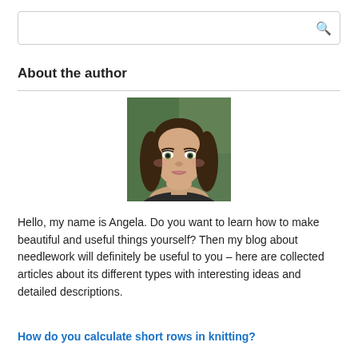[Figure (other): Search box with magnifying glass icon on the right]
About the author
[Figure (photo): Headshot of a young woman with long brown hair, green eyes, wearing makeup, with a blurred green outdoor background]
Hello, my name is Angela. Do you want to learn how to make beautiful and useful things yourself? Then my blog about needlework will definitely be useful to you – here are collected articles about its different types with interesting ideas and detailed descriptions.
How do you calculate short rows in knitting?